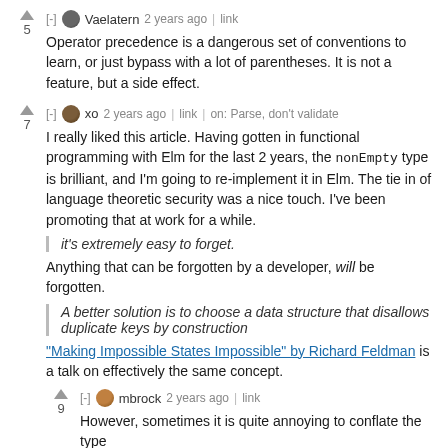[-] Vaelatern 2 years ago | link
Operator precedence is a dangerous set of conventions to learn, or just bypass with a lot of parentheses. It is not a feature, but a side effect.
[-] xo 2 years ago | link | on: Parse, don't validate
I really liked this article. Having gotten in functional programming with Elm for the last 2 years, the nonEmpty type is brilliant, and I'm going to re-implement it in Elm. The tie in of language theoretic security was a nice touch. I've been promoting that at work for a while.
[blockquote: it's extremely easy to forget.]
Anything that can be forgotten by a developer, will be forgotten.
[blockquote: A better solution is to choose a data structure that disallows duplicate keys by construction]
"Making Impossible States Impossible" by Richard Feldman is a talk on effectively the same concept.
[-] mbrock 2 years ago | link
However, sometimes it is quite annoying to conflate the type